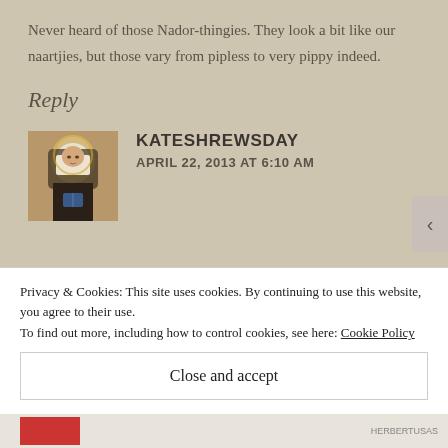Never heard of those Nador-thingies. They look a bit like our naartjies, but those vary from pipless to very pippy indeed.
Reply
[Figure (photo): Small avatar image of a medieval-style painting of a woman in religious attire]
KATESHREWSDAY
APRIL 22, 2013 AT 6:10 AM
Privacy & Cookies: This site uses cookies. By continuing to use this website, you agree to their use.
To find out more, including how to control cookies, see here: Cookie Policy
Close and accept